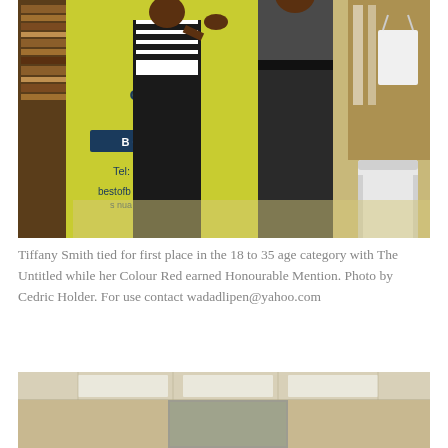[Figure (photo): Two people shaking hands in front of a yellow banner reading 'Best of Books' with contact information. Bookstore setting with shelves visible in background. A white plastic chair is on the right.]
Tiffany Smith tied for first place in the 18 to 35 age category with The Untitled while her Colour Red earned Honourable Mention. Photo by Cedric Holder. For use contact wadadlipen@yahoo.com
[Figure (photo): Interior room photo showing a ceiling with fluorescent lights and white tiles, beige walls visible.]